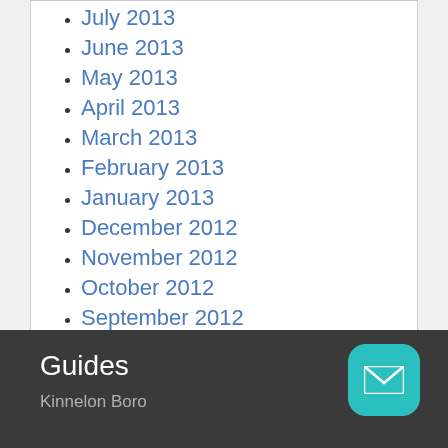July 2013
June 2013
May 2013
April 2013
March 2013
February 2013
January 2013
December 2012
November 2012
October 2012
September 2012
October 2011
September 2011
Guides
Kinnelon Boro